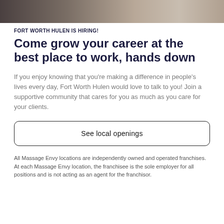[Figure (photo): Partial photo of people at top of page, cropped, showing dark clothing and background]
FORT WORTH HULEN IS HIRING!
Come grow your career at the best place to work, hands down
If you enjoy knowing that you’re making a difference in people’s lives every day, Fort Worth Hulen would love to talk to you! Join a supportive community that cares for you as much as you care for your clients.
See local openings
All Massage Envy locations are independently owned and operated franchises. At each Massage Envy location, the franchisee is the sole employer for all positions and is not acting as an agent for the franchisor.